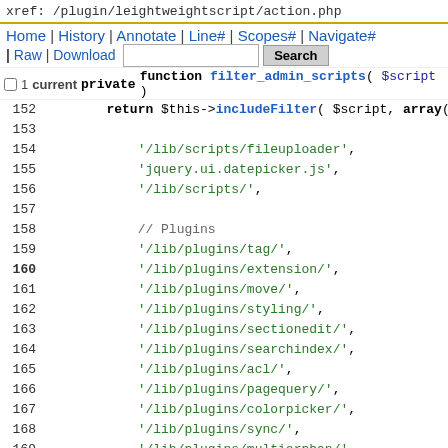xref: /plugin/leightweightscript/action.php
Home | History | Annotate | Line# | Scopes# | Navigate# | Raw | Download  [Search]
[Figure (screenshot): Code viewer showing PHP source lines 150-175 of /plugin/leightweightscript/action.php with line numbers, keywords, function names, variables, and string literals highlighted in various colors.]